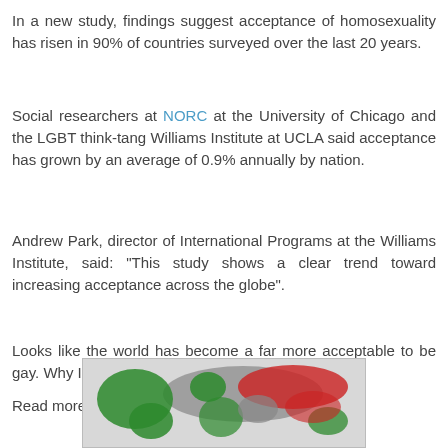In a new study, findings suggest acceptance of homosexuality has risen in 90% of countries surveyed over the last 20 years.
Social researchers at NORC at the University of Chicago and the LGBT think-tang Williams Institute at UCLA said acceptance has grown by an average of 0.9% annually by nation.
Andrew Park, director of International Programs at the Williams Institute, said: "This study shows a clear trend toward increasing acceptance across the globe".
Looks like the world has become a far more acceptable to be gay. Why I am not so optimist about that?
Read more here.
[Figure (map): A world map showing regions colored in green, red, and grey indicating varying levels of acceptance of homosexuality by country.]